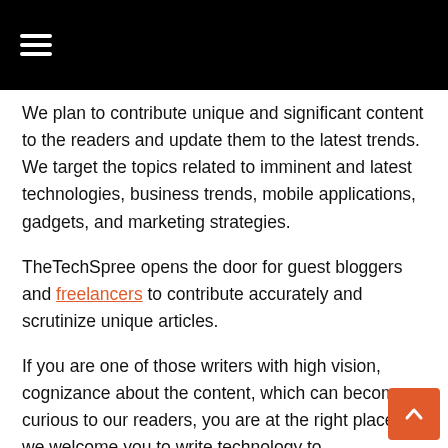[Navigation bar with hamburger menu icon]
We plan to contribute unique and significant content to the readers and update them to the latest trends. We target the topics related to imminent and latest technologies, business trends, mobile applications, gadgets, and marketing strategies.
TheTechSpree opens the door for guest bloggers and freelancers to contribute accurately and scrutinize unique articles.
If you are one of those writers with high vision, cognizance about the content, which can become curious to our readers, you are at the right place as we welcome you to write technology to